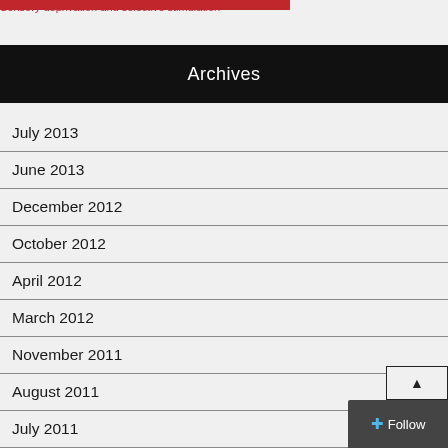Sensory deprivation and selective stimulation
Archives
July 2013
June 2013
December 2012
October 2012
April 2012
March 2012
November 2011
August 2011
July 2011
May 2011
March 2011